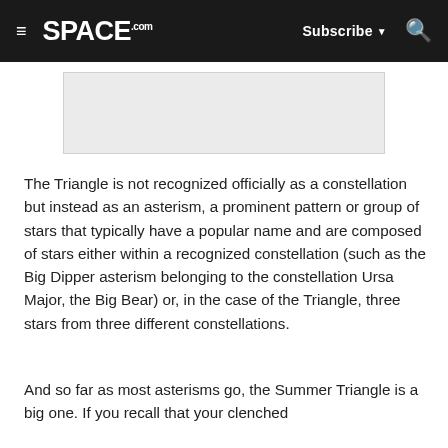≡  SPACE.com  Subscribe ▼  🔍
[Figure (other): Gray advertisement placeholder banner]
The Triangle is not recognized officially as a constellation but instead as an asterism, a prominent pattern or group of stars that typically have a popular name and are composed of stars either within a recognized constellation (such as the Big Dipper asterism belonging to the constellation Ursa Major, the Big Bear) or, in the case of the Triangle, three stars from three different constellations.
And so far as most asterisms go, the Summer Triangle is a big one. If you recall that your clenched